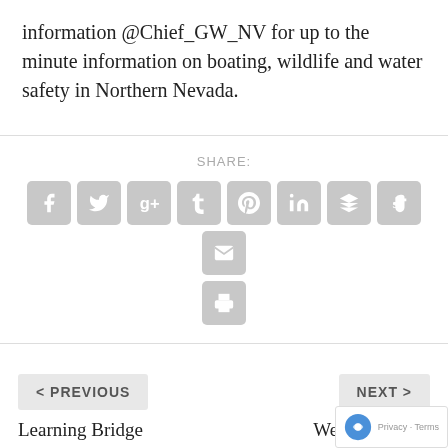information @Chief_GW_NV for up to the minute information on boating, wildlife and water safety in Northern Nevada.
[Figure (other): Social media share buttons: Facebook, Twitter, Google+, Tumblr, Pinterest, LinkedIn, Buffer, StumbleUpon, Email, Print]
< PREVIOUS
Learning Bridge welcomes new teachers
NEXT >
Weekend cho... fun on ta...